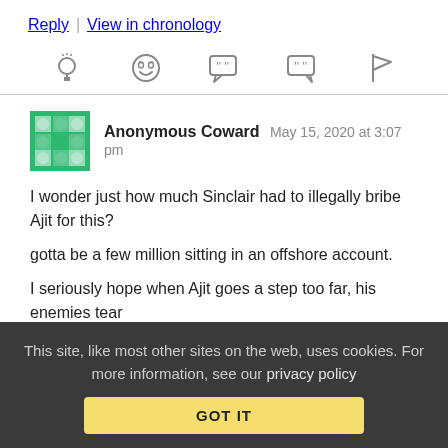Reply | View in chronology
[Figure (infographic): Row of 5 reaction icons: lightbulb, laughing face, speech bubble with quotes, speech bubble with quote marks, flag]
Anonymous Coward   May 15, 2020 at 3:07 pm
I wonder just how much Sinclair had to illegally bribe Ajit for this?

gotta be a few million sitting in an offshore account.

I seriously hope when Ajit goes a step too far, his enemies tear
This site, like most other sites on the web, uses cookies. For more information, see our privacy policy
GOT IT